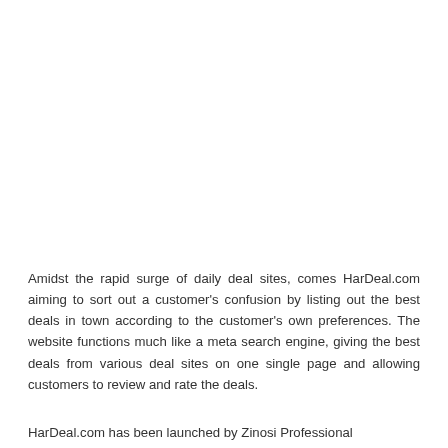Amidst the rapid surge of daily deal sites, comes HarDeal.com aiming to sort out a customer's confusion by listing out the best deals in town according to the customer's own preferences. The website functions much like a meta search engine, giving the best deals from various deal sites on one single page and allowing customers to review and rate the deals.
HarDeal.com has been launched by Zinosi Professional